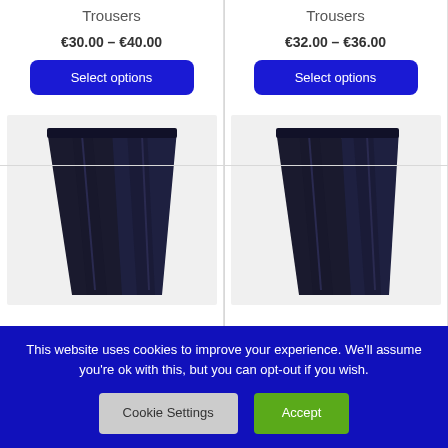Trousers
€30.00 – €40.00
Select options
Trousers
€32.00 – €36.00
Select options
[Figure (photo): Dark navy/black folded trousers product photo, left column]
[Figure (photo): Dark navy/black folded trousers product photo, right column]
This website uses cookies to improve your experience. We'll assume you're ok with this, but you can opt-out if you wish.
Cookie Settings
Accept